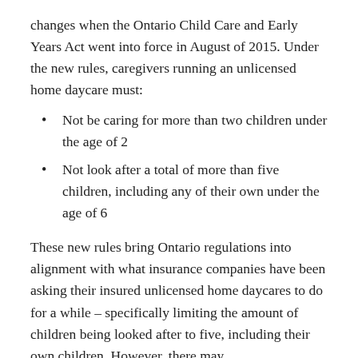changes when the Ontario Child Care and Early Years Act went into force in August of 2015. Under the new rules, caregivers running an unlicensed home daycare must:
Not be caring for more than two children under the age of 2
Not look after a total of more than five children, including any of their own under the age of 6
These new rules bring Ontario regulations into alignment with what insurance companies have been asking their insured unlicensed home daycares to do for a while – specifically limiting the amount of children being looked after to five, including their own children. However, there may